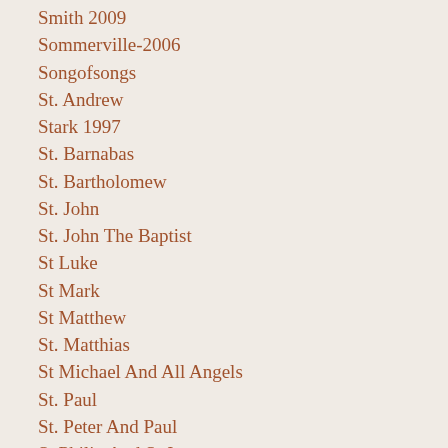Smith 2009
Sommerville-2006
Songofsongs
St. Andrew
Stark 1997
St. Barnabas
St. Bartholomew
St. John
St. John The Baptist
St Luke
St Mark
St Matthew
St. Matthias
St Michael And All Angels
St. Paul
St. Peter And Paul
St Philip And St James
St. Stephen
St. Thomas